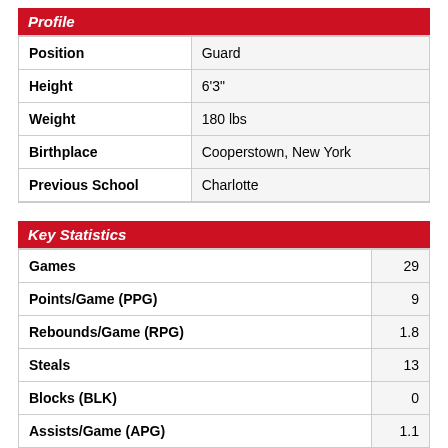Profile
|  |  |
| --- | --- |
| Position | Guard |
| Height | 6'3" |
| Weight | 180 lbs |
| Birthplace | Cooperstown, New York |
| Previous School | Charlotte |
Key Statistics
|  |  |
| --- | --- |
| Games | 29 |
| Points/Game (PPG) | 9 |
| Rebounds/Game (RPG) | 1.8 |
| Steals | 13 |
| Blocks (BLK) | 0 |
| Assists/Game (APG) | 1.1 |